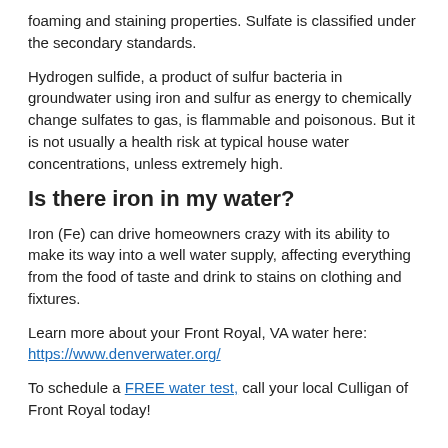foaming and staining properties. Sulfate is classified under the secondary standards.
Hydrogen sulfide, a product of sulfur bacteria in groundwater using iron and sulfur as energy to chemically change sulfates to gas, is flammable and poisonous. But it is not usually a health risk at typical house water concentrations, unless extremely high.
Is there iron in my water?
Iron (Fe) can drive homeowners crazy with its ability to make its way into a well water supply, affecting everything from the food of taste and drink to stains on clothing and fixtures.
Learn more about your Front Royal, VA water here: https://www.denverwater.org/
To schedule a FREE water test, call your local Culligan of Front Royal today!